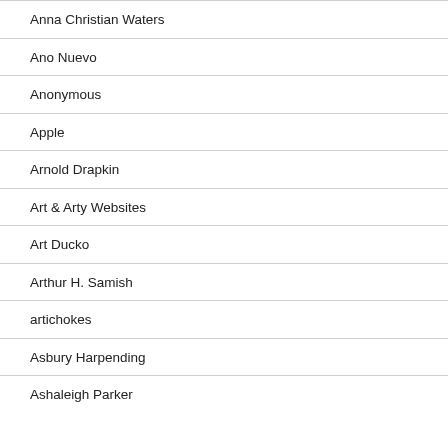Anna Christian Waters
Ano Nuevo
Anonymous
Apple
Arnold Drapkin
Art & Arty Websites
Art Ducko
Arthur H. Samish
artichokes
Asbury Harpending
Ashaleigh Parker